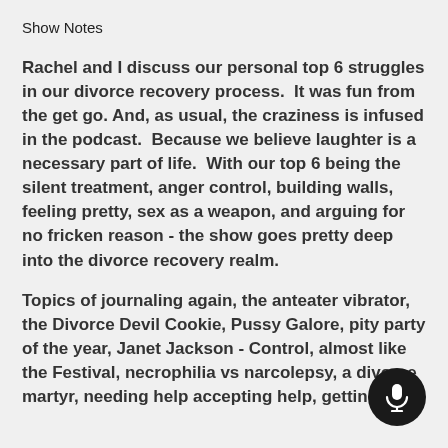Show Notes
Rachel and I discuss our personal top 6 struggles in our divorce recovery process.  It was fun from the get go. And, as usual, the craziness is infused in the podcast.  Because we believe laughter is a necessary part of life.  With our top 6 being the silent treatment, anger control, building walls, feeling pretty, sex as a weapon, and arguing for no fricken reason - the show goes pretty deep into the divorce recovery realm.
Topics of journaling again, the anteater vibrator, the Divorce Devil Cookie, Pussy Galore, pity party of the year, Janet Jackson - Control, almost like the Festival, necrophilia vs narcolepsy, a divorce martyr, needing help accepting help, getting that